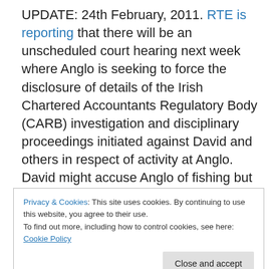UPDATE: 24th February, 2011. RTE is reporting that there will be an unscheduled court hearing next week where Anglo is seeking to force the disclosure of details of the Irish Chartered Accountants Regulatory Body (CARB) investigation and disciplinary proceedings initiated against David and others in respect of activity at Anglo. David might accuse Anglo of fishing but it seems that Anglo may be preparing to oppose any discharge from bankruptcy. How will David respond to this intensification of activity against him by his former employer?
Privacy & Cookies: This site uses cookies. By continuing to use this website, you agree to their use. To find out more, including how to control cookies, see here: Cookie Policy
cook tax on €10.7m earnings whilst at the helm of Anglo.